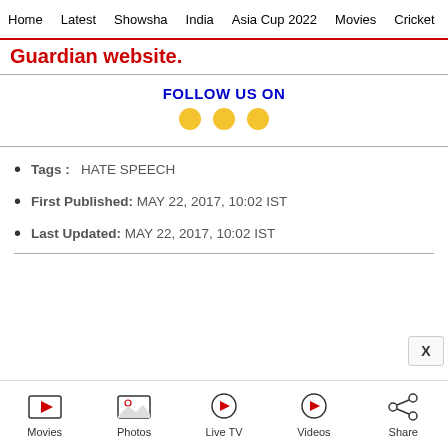Home  Latest  Showsha  India  Asia Cup 2022  Movies  Cricket
Guardian website.
FOLLOW US ON
Tags :  HATE SPEECH
First Published: MAY 22, 2017, 10:02 IST
Last Updated: MAY 22, 2017, 10:02 IST
Movies  Photos  Live TV  Videos  Share